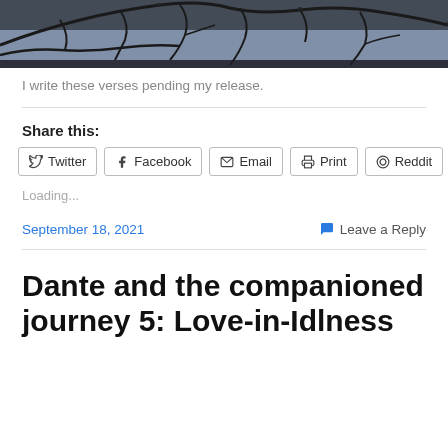[Figure (photo): Dark photo of bare tree branches against a grey sky, cropped to a horizontal strip at top of page]
I write these verses pending my release.
Share this:
Twitter  Facebook  Email  Print  Reddit
Loading...
September 18, 2021   Leave a Reply
Dante and the companioned journey 5: Love-in-Idlness